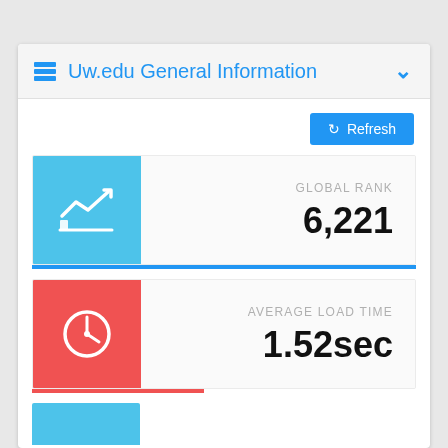Uw.edu General Information
Refresh
GLOBAL RANK
6,221
AVERAGE LOAD TIME
1.52sec